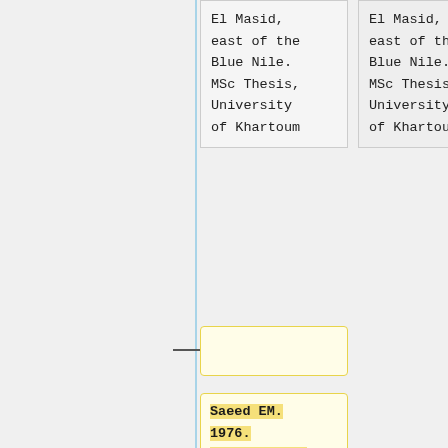El Masid, east of the Blue Nile. MSc Thesis, University of Khartoum
El Masid, east of the Blue Nile. MSc Thesis, University of Khartoum
Saeed EM. 1976. Hydrogeology of Khartoum province and northern Gezira. Bull no. 29, Geological Research